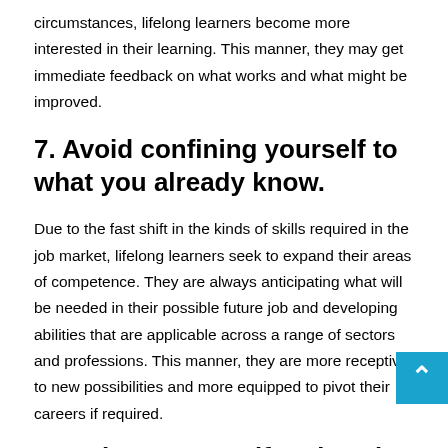circumstances, lifelong learners become more interested in their learning. This manner, they may get immediate feedback on what works and what might be improved.
7. Avoid confining yourself to what you already know.
Due to the fast shift in the kinds of skills required in the job market, lifelong learners seek to expand their areas of competence. They are always anticipating what will be needed in their possible future job and developing abilities that are applicable across a range of sectors and professions. This manner, they are more receptive to new possibilities and more equipped to pivot their careers if required.
8.Evaluate yourself and seek feedback
Continuous learners have a high sense of self-awareness. As